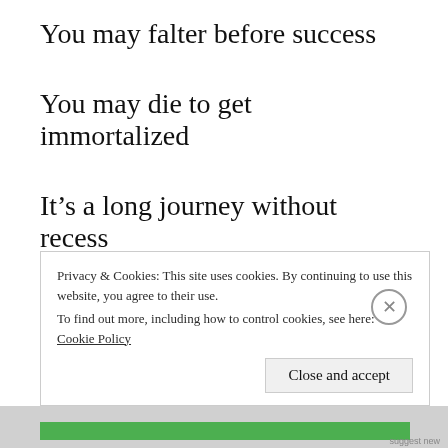You may falter before success
You may die to get immortalized
It’s a long journey without recess
Are you ready to resurrect n resuscitate!
Privacy & Cookies: This site uses cookies. By continuing to use this website, you agree to their use.
To find out more, including how to control cookies, see here: Cookie Policy
Close and accept